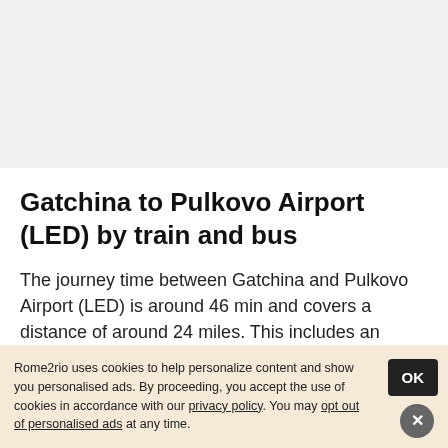Gatchina to Pulkovo Airport (LED) by train and bus
The journey time between Gatchina and Pulkovo Airport (LED) is around 46 min and covers a distance of around 24 miles. This includes an average layover time of around 5
Rome2rio uses cookies to help personalize content and show you personalised ads. By proceeding, you accept the use of cookies in accordance with our privacy policy. You may opt out of personalised ads at any time.